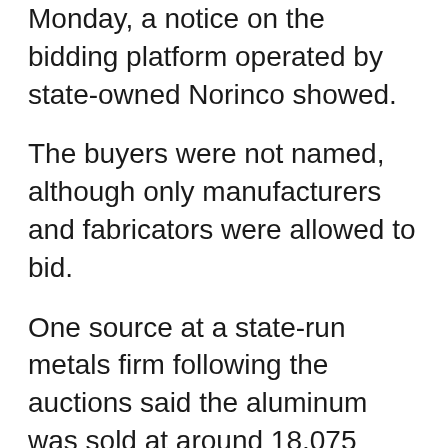Monday, a notice on the bidding platform operated by state-owned Norinco showed.
The buyers were not named, although only manufacturers and fabricators were allowed to bid.
One source at a state-run metals firm following the auctions said the aluminum was sold at around 18,075 yuan ($2,797) a tonne, a 5.3% discount to aluminum's settlement price on the Shanghai Futures Exchange (ShFE) on Monday.
For copper, bidding began at 8 a.m. Beijing time (0000 GMT)and the last lot of 146 tonnes was auctioned just 75 minutes later, according to the China Minmetals